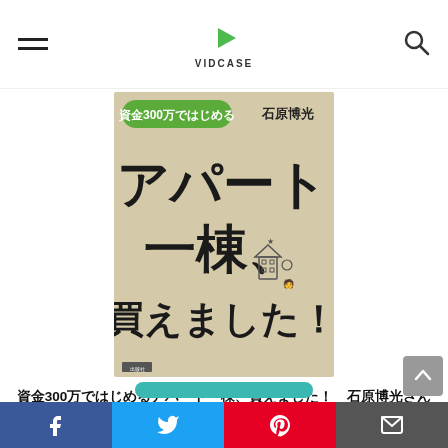VIDCASE
[Figure (photo): Book cover for '資金300万ではじめる アパート一棟、買えました！' by 石原博光. Beige/kraft paper background with large bold Japanese text and a small cartoon illustration of buildings.]
資金300万ではじめるアパート一棟、買えました！　石原博光さんのアパート経営の本のまとめ・書評
Facebook Twitter Pinterest Mail